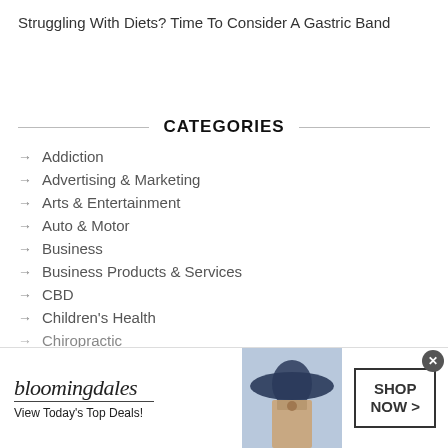Struggling With Diets? Time To Consider A Gastric Band
CATEGORIES
Addiction
Advertising & Marketing
Arts & Entertainment
Auto & Motor
Business
Business Products & Services
CBD
Children's Health
Chiropractic
[Figure (illustration): Bloomingdale's advertisement banner with logo, 'View Today's Top Deals!' tagline, woman in large hat image, and 'SHOP NOW >' button]